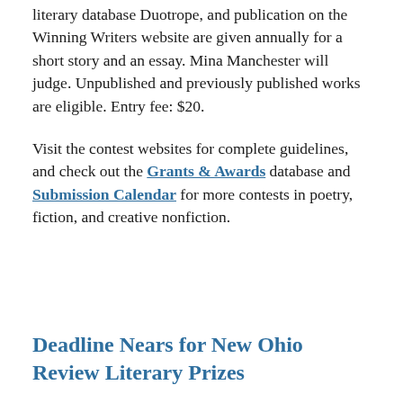literary database Duotrope, and publication on the Winning Writers website are given annually for a short story and an essay. Mina Manchester will judge. Unpublished and previously published works are eligible. Entry fee: $20.
Visit the contest websites for complete guidelines, and check out the Grants & Awards database and Submission Calendar for more contests in poetry, fiction, and creative nonfiction.
Deadline Nears for New Ohio Review Literary Prizes